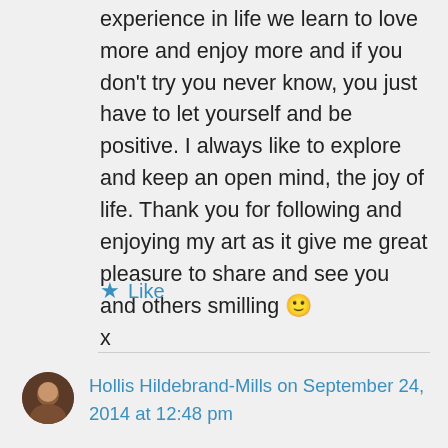experience in life we learn to love more and enjoy more and if you don't try you never know, you just have to let yourself and be positive. I always like to explore and keep an open mind, the joy of life. Thank you for following and enjoying my art as it give me great pleasure to share and see you and others smilling 🙂 x
★ Like
Hollis Hildebrand-Mills on September 24, 2014 at 12:48 pm